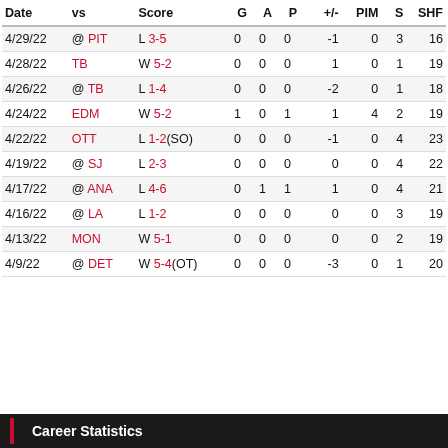| Date | vs | Score | G | A | P | +/- | PIM | S | SHF |
| --- | --- | --- | --- | --- | --- | --- | --- | --- | --- |
| 4/29/22 | @ PIT | L 3-5 | 0 | 0 | 0 | -1 | 0 | 3 | 16 |
| 4/28/22 | TB | W 5-2 | 0 | 0 | 0 | 1 | 0 | 1 | 19 |
| 4/26/22 | @ TB | L 1-4 | 0 | 0 | 0 | -2 | 0 | 1 | 18 |
| 4/24/22 | EDM | W 5-2 | 1 | 0 | 1 | 1 | 4 | 2 | 19 |
| 4/22/22 | OTT | L 1-2(SO) | 0 | 0 | 0 | -1 | 0 | 4 | 23 |
| 4/19/22 | @ SJ | L 2-3 | 0 | 0 | 0 | 0 | 0 | 4 | 22 |
| 4/17/22 | @ ANA | L 4-6 | 0 | 1 | 1 | 1 | 0 | 4 | 21 |
| 4/16/22 | @ LA | L 1-2 | 0 | 0 | 0 | 0 | 0 | 3 | 19 |
| 4/13/22 | MON | W 5-1 | 0 | 0 | 0 | 0 | 0 | 2 | 19 |
| 4/9/22 | @ DET | W 5-4(OT) | 0 | 0 | 0 | -3 | 0 | 1 | 20 |
Career Statistics